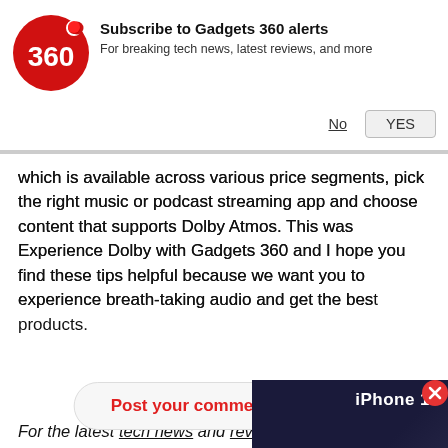[Figure (screenshot): Gadgets 360 push notification subscription banner with red circular logo showing '360', title 'Subscribe to Gadgets 360 alerts', subtitle 'For breaking tech news, latest reviews, and more', and buttons 'No' and 'YES']
which is available across various price segments, pick the right music or podcast streaming app and choose content that supports Dolby Atmos. This was Experience Dolby with Gadgets 360 and I hope you find these tips helpful because we want you to experience breath-taking audio and get the best products.
[Figure (screenshot): Video thumbnail overlay showing iPhone 14 Review Roundup with play button, close button (x) in top right]
Post your comment
For the latest tech news and reviews, follow Gadgets 360 on Twitter, Facebook, and Google News. For the latest